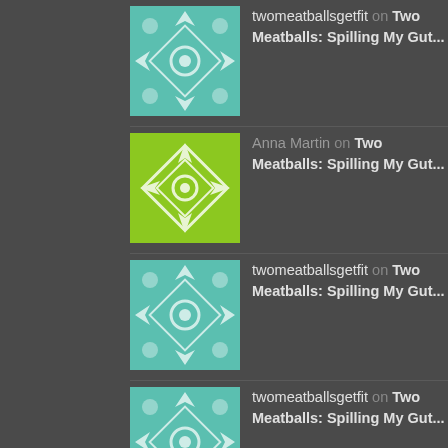twomeatballsgetfit on Two Meatballs: Spilling My Gut...
Anna Martin on Two Meatballs: Spilling My Gut...
twomeatballsgetfit on Two Meatballs: Spilling My Gut...
twomeatballsgetfit on Two Meatballs: Spilling My Gut...
Recent Posts
Two Meatballs: Spilling My Guts
Two Meatballs: Nothing Standing in My WAY!